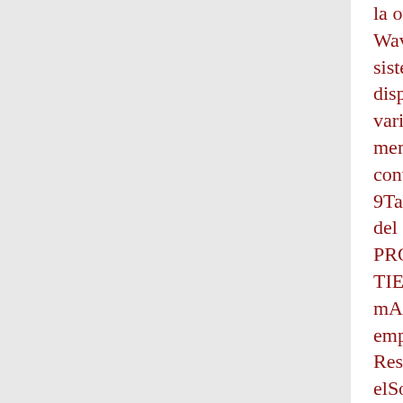la otraEl dispositivo permaneceráA en la red WaveAZ y volverAA a conectarseCuando sistema WaveAZ se desplaza a travASs dispositivos. Bluetooth que guarda en su varios dispositivos emparejados, puede memoria. Pulse y mantenga pulsado el bo control remoto durante 10 segundos hast 9Tab 7, 15. Funciones del control remoto d del sistema de mAssica Wave IIIM PROPIETARIOS DE LA RADIO TIENENTab 3, 11. Tab 8, 16Para ma mAlvil, un ordenador tablet u otro di emparejado, utilice elVolume. MuteEspaA ResoluciAln de problemas. Problema. No elSoluciAlnBluetooth. Consulte a??Empa Bluetootha?? en la pAAgina 7.La recepciA Aleje el adaptador de mAssica del sistem controlan laNota: No todos los reproduct radio por Internet admiten esta forma de.